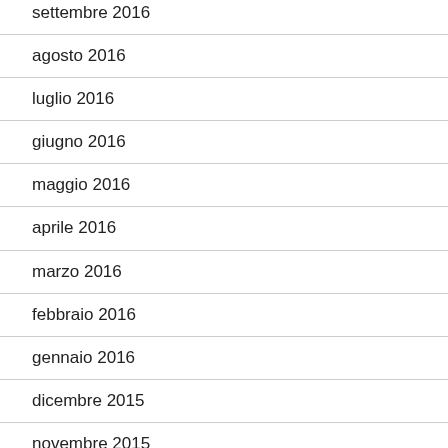settembre 2016
agosto 2016
luglio 2016
giugno 2016
maggio 2016
aprile 2016
marzo 2016
febbraio 2016
gennaio 2016
dicembre 2015
novembre 2015